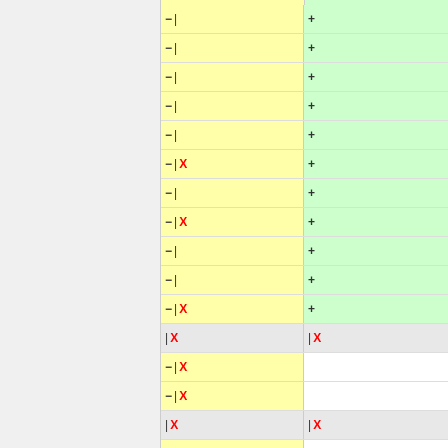[Figure (other): Diff/merge UI showing rows of editable fields with minus (−) and plus (+) controls, yellow left cells and green right cells indicating changes, red X markers on some rows, gray rows with pipe and X markers for deleted/unchanged content. Left panel is a gray sidebar. This appears to be a code or document diff tool interface.]